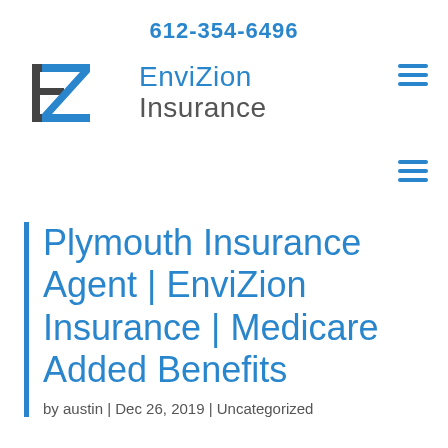612-354-6496
[Figure (logo): EnviZion Insurance logo with stylized EZ letters in dark gray and company name in blue and gray text]
Plymouth Insurance Agent | EnviZion Insurance | Medicare Added Benefits
by austin | Dec 26, 2019 | Uncategorized